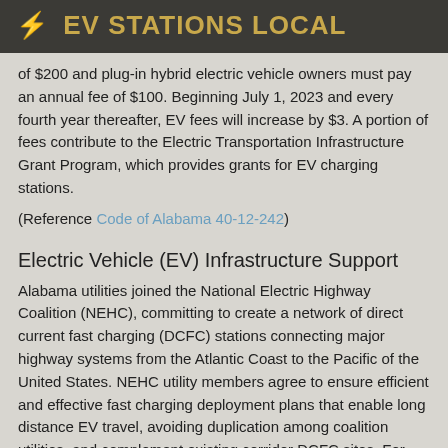⚡ EV STATIONS LOCAL
of $200 and plug-in hybrid electric vehicle owners must pay an annual fee of $100. Beginning July 1, 2023 and every fourth year thereafter, EV fees will increase by $3. A portion of fees contribute to the Electric Transportation Infrastructure Grant Program, which provides grants for EV charging stations.
(Reference Code of Alabama 40-12-242)
Electric Vehicle (EV) Infrastructure Support
Alabama utilities joined the National Electric Highway Coalition (NEHC), committing to create a network of direct current fast charging (DCFC) stations connecting major highway systems from the Atlantic Coast to the Pacific of the United States. NEHC utility members agree to ensure efficient and effective fast charging deployment plans that enable long distance EV travel, avoiding duplication among coalition utilities, and complement existing corridor DCFC sites. For more information, including a list of participating utilities and states, see the NEHC website.